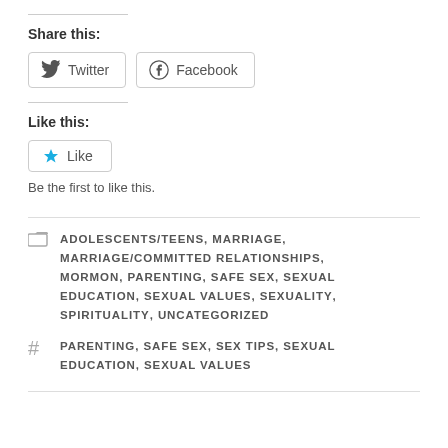Share this:
[Figure (infographic): Twitter and Facebook share buttons with icons]
Like this:
[Figure (infographic): Like button with star icon]
Be the first to like this.
ADOLESCENTS/TEENS, MARRIAGE, MARRIAGE/COMMITTED RELATIONSHIPS, MORMON, PARENTING, SAFE SEX, SEXUAL EDUCATION, SEXUAL VALUES, SEXUALITY, SPIRITUALITY, UNCATEGORIZED
PARENTING, SAFE SEX, SEX TIPS, SEXUAL EDUCATION, SEXUAL VALUES